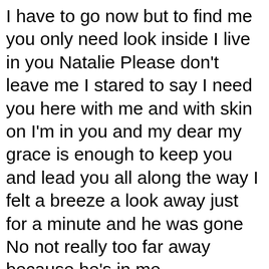I have to go now but to find me you only need look inside I live in you Natalie Please don't leave me I stared to say I need you here with me and with skin on I'm in you and my dear my grace is enough to keep you and lead you all along the way I felt a breeze a look away just for a minute and he was gone No not really too far away because he's in me